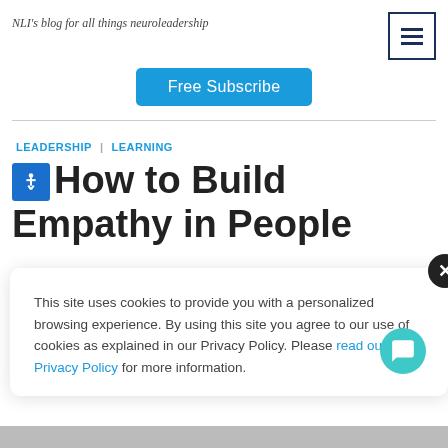NLI's blog for all things neuroleadership
Free Subscribe
LEADERSHIP | LEARNING
How to Build Empathy in People
This site uses cookies to provide you with a personalized browsing experience. By using this site you agree to our use of cookies as explained in our Privacy Policy. Please read our Privacy Policy for more information.